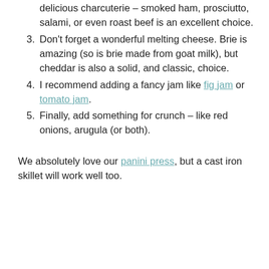delicious charcuterie – smoked ham, prosciutto, salami, or even roast beef is an excellent choice.
3. Don't forget a wonderful melting cheese. Brie is amazing (so is brie made from goat milk), but cheddar is also a solid, and classic, choice.
4. I recommend adding a fancy jam like fig jam or tomato jam.
5. Finally, add something for crunch – like red onions, arugula (or both).
We absolutely love our panini press, but a cast iron skillet will work well too.